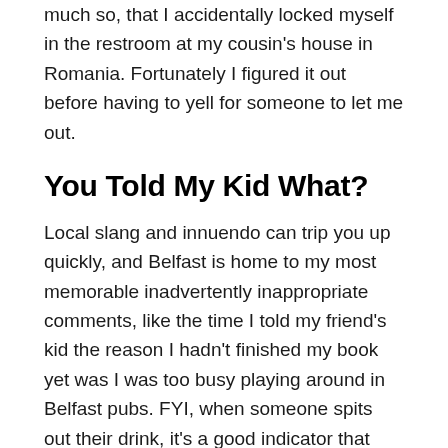much so, that I accidentally locked myself in the restroom at my cousin's house in Romania. Fortunately I figured it out before having to yell for someone to let me out.
You Told My Kid What?
Local slang and innuendo can trip you up quickly, and Belfast is home to my most memorable inadvertently inappropriate comments, like the time I told my friend's kid the reason I hadn't finished my book yet was I was too busy playing around in Belfast pubs. FYI, when someone spits out their drink, it's a good indicator that you just said something different than you'd intended. Oops. Sorry, Gary!